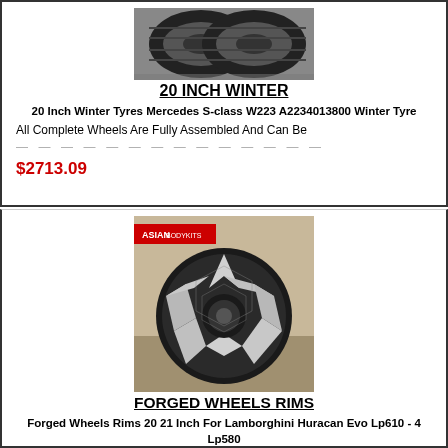[Figure (photo): Two black winter tyres stacked, viewed from front, on grey background]
20 INCH WINTER
20 Inch Winter Tyres Mercedes S-class W223 A2234013800 Winter Tyre
All Complete Wheels Are Fully Assembled And Can Be [truncated]
$2713.09
[Figure (photo): Black and silver forged alloy wheel with geometric spoke design, Asian Bodykits branded, displayed on shelf background]
FORGED WHEELS RIMS
Forged Wheels Rims 20 21 Inch For Lamborghini Huracan Evo Lp610 - 4 Lp580
Aftermarket Set Of Forged Wheels (4 Pcs) For ---forged [truncated]